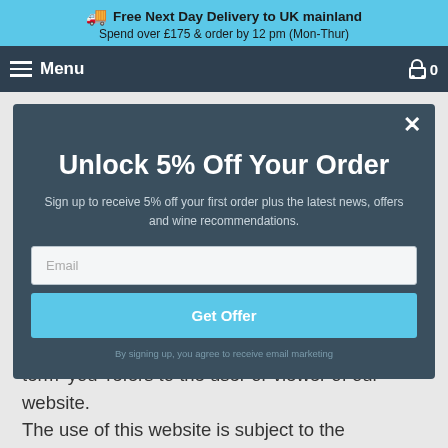Free Next Day Delivery to UK mainland
Spend over £175 & order by 12 pm (Mon-Thur)
Menu  0
By using this website, you are agreeing to
[Figure (screenshot): Modal popup with dark blue-grey background offering 5% off first order, with email input field and Get Offer button]
company registration number is 11878900. The term 'you' refers to the user or viewer of our website.
The use of this website is subject to the